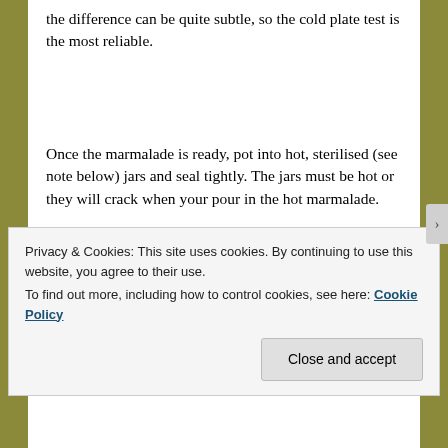the difference can be quite subtle, so the cold plate test is the most reliable.
Once the marmalade is ready, pot into hot, sterilised (see note below) jars and seal tightly. The jars must be hot or they will crack when your pour in the hot marmalade.
Notes:
Privacy & Cookies: This site uses cookies. By continuing to use this website, you agree to their use.
To find out more, including how to control cookies, see here: Cookie Policy